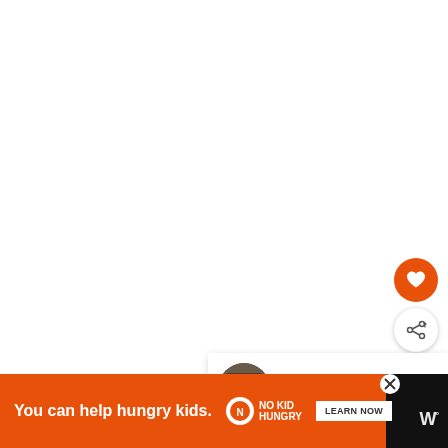[Figure (screenshot): White blank area — main content area of a web page]
[Figure (illustration): Orange circular heart/favorite button with white heart icon]
[Figure (illustration): White circular share button with share icon]
[Figure (screenshot): WHAT'S NEXT card showing thumbnail and title '31 Game of Thrones...']
[Figure (screenshot): Orange advertisement banner: 'You can help hungry kids.' with No Kid Hungry logo and LEARN NOW button]
[Figure (logo): Watermark logo 'W' with superscript on black bar]